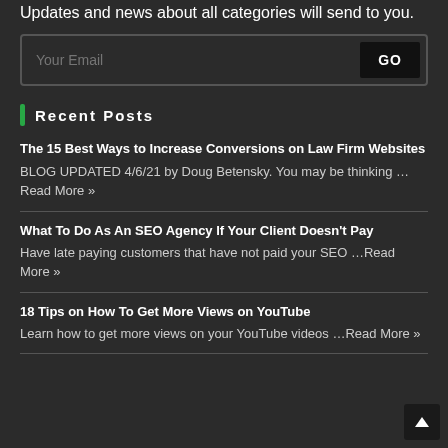Updates and news about all categories will send to you.
Your Email GO
Recent Posts
The 15 Best Ways to Increase Conversions on Law Firm Websites BLOG UPDATED 4/6/21 by Doug Betensky. You may be thinking …Read More »
What To Do As An SEO Agency If Your Client Doesn't Pay Have late paying customers that have not paid your SEO …Read More »
18 Tips on How To Get More Views on YouTube Learn how to get more views on your YouTube videos …Read More »